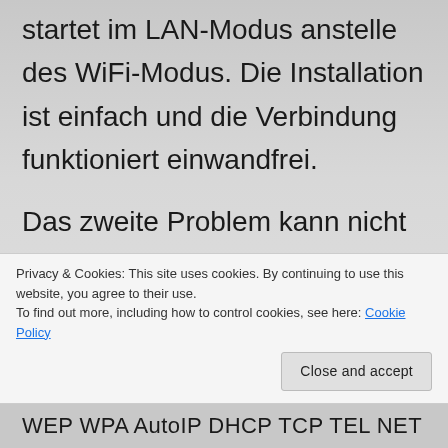startet im LAN-Modus anstelle des WiFi-Modus. Die Installation ist einfach und die Verbindung funktioniert einwandfrei.
Das zweite Problem kann nicht so einfach behoben werden. Ich hatte den Effekt, dass meine Soundbrigde immer mehr die Fähigkeit verliert, mit Radiostreams in Kontakt zu treten. Es
Privacy & Cookies: This site uses cookies. By continuing to use this website, you agree to their use.
To find out more, including how to control cookies, see here: Cookie Policy
Close and accept
WEP WPA AutoIP DHCP TCP TEL NET